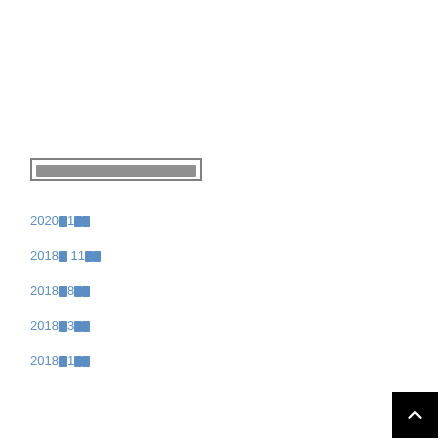□□□□□□□□□□□□□□□□□□
2020年1月□□
2018年 11月□□
2018年8月□□
2018年3月□□
2018年1月□□